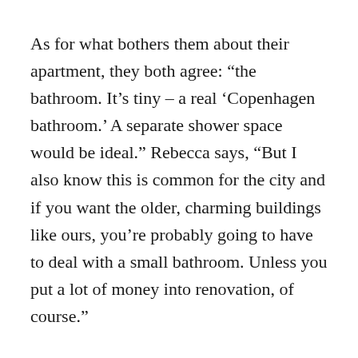As for what bothers them about their apartment, they both agree: “the bathroom. It’s tiny – a real ‘Copenhagen bathroom.’ A separate shower space would be ideal.” Rebecca says, “But I also know this is common for the city and if you want the older, charming buildings like ours, you’re probably going to have to deal with a small bathroom. Unless you put a lot of money into renovation, of course.”